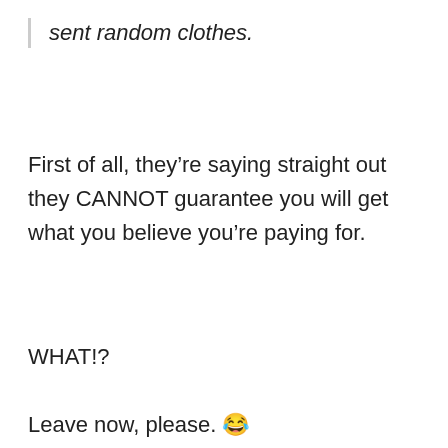sent random clothes.
First of all, they’re saying straight out they CANNOT guarantee you will get what you believe you’re paying for.
WHAT!?
Leave now, please. 😂
[Figure (screenshot): Advertisement for Ashburn auto shop: logo, OPEN 7:30AM-6PM, 43781 Parkhurst Plaza Ashburn, navigation icon, play and close buttons]